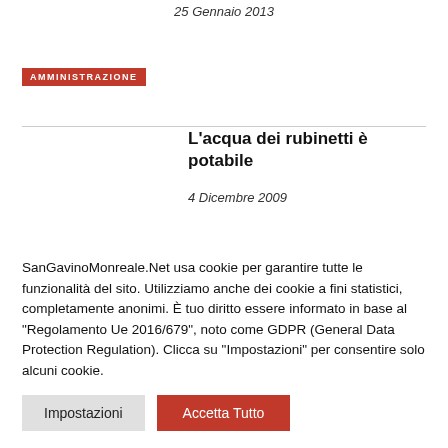25 Gennaio 2013
AMMINISTRAZIONE
L'acqua dei rubinetti è potabile
4 Dicembre 2009
SanGavinoMonreale.Net usa cookie per garantire tutte le funzionalità del sito. Utilizziamo anche dei cookie a fini statistici, completamente anonimi. È tuo diritto essere informato in base al "Regolamento Ue 2016/679", noto come GDPR (General Data Protection Regulation). Clicca su "Impostazioni" per consentire solo alcuni cookie.
Impostazioni
Accetta Tutto